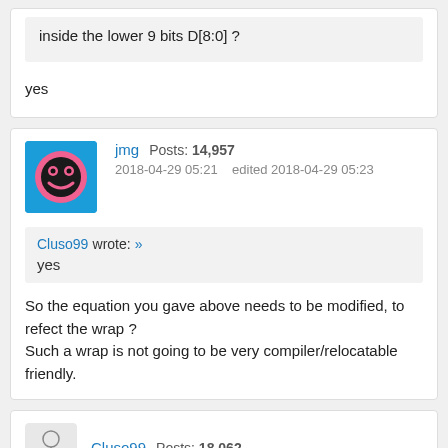inside the lower 9 bits D[8:0] ?
yes
jmg  Posts: 14,957  2018-04-29 05:21  edited 2018-04-29 05:23
Cluso99 wrote: »
yes
So the equation you gave above needs to be modified, to refect the wrap ?
Such a wrap is not going to be very compiler/relocatable friendly.
Cluso99  Posts: 18,062